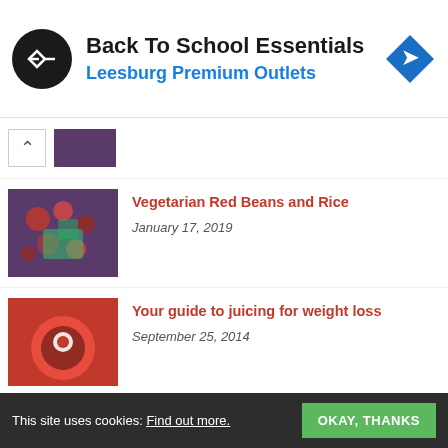[Figure (screenshot): Ad banner: Back To School Essentials - Leesburg Premium Outlets with logo and direction arrow]
Vegetarian Red Beans and Rice — January 17, 2019
Your guide to juicing for weight loss — September 25, 2014
The Health Benefits of Maca Powder and Maca Root — September 9, 2013
Guide to the Benefits of Juicing
This site uses cookies: Find out more. OKAY, THANKS